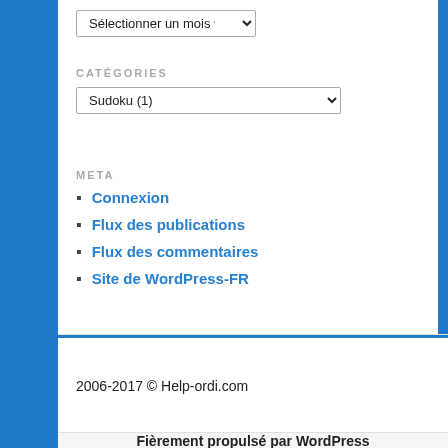Sélectionner un mois
CATÉGORIES
Sudoku  (1)
META
Connexion
Flux des publications
Flux des commentaires
Site de WordPress-FR
2006-2017 © Help-ordi.com
Fièrement propulsé par WordPress